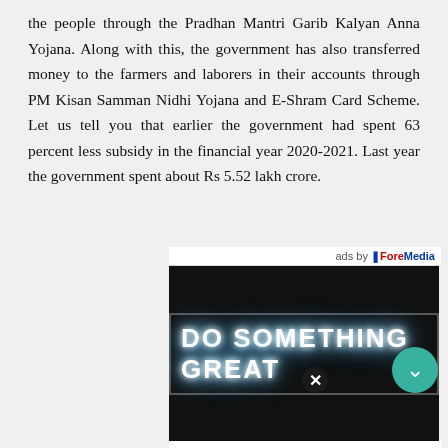the people through the Pradhan Mantri Garib Kalyan Anna Yojana. Along with this, the government has also transferred money to the farmers and laborers in their accounts through PM Kisan Samman Nidhi Yojana and E-Shram Card Scheme. Let us tell you that earlier the government had spent 63 percent less subsidy in the financial year 2020-2021. Last year the government spent about Rs 5.52 lakh crore.
[Figure (photo): Advertisement banner with neon text reading 'DO SOMETHING GREAT' on dark background, with 'ads by ForeMedia' label and caption 'The Success Of Life: How To Achieve It']
The Success Of Life: How To Achieve It